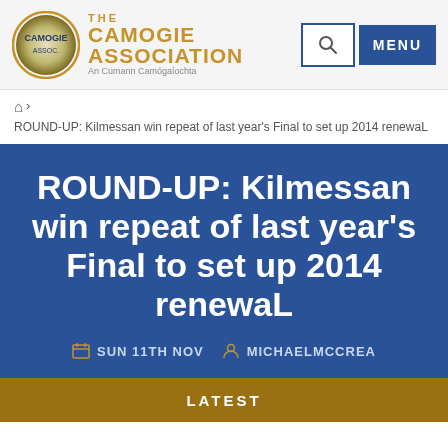THE CAMOGIE ASSOCIATION An Cumann Camógaíochta
ROUND-UP: Kilmessan win repeat of last year's Final to set up 2014 renewaL
ROUND-UP: Kilmessan win repeat of last year's Final to set up 2014 renewaL
SUN 11TH NOV   MICHAELMCCREA
LATEST